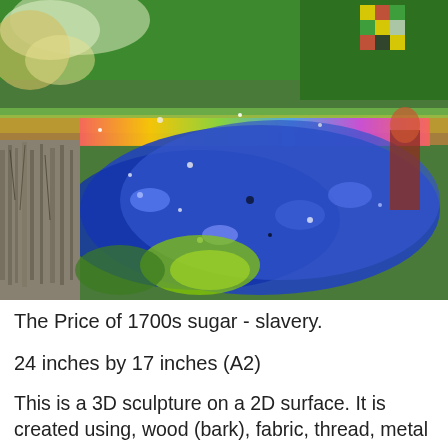[Figure (photo): Close-up photograph of a mixed-media 3D sculpture artwork showing layers of glitter, blue beads or glass, green fabric, metallic foil, and textured materials on a canvas. The scene suggests a landscape with blue water/sea area in the center, green fields and trees, and bark/wood texture on the left side.]
The Price of 1700s sugar - slavery.
24 inches by 17 inches (A2)
This is a 3D sculpture on a 2D surface. It is created using, wood (bark), fabric, thread, metal foil, cotton wool, glitter, glass paint, card, plastic and oil paint on A2 canvas board. The biggest